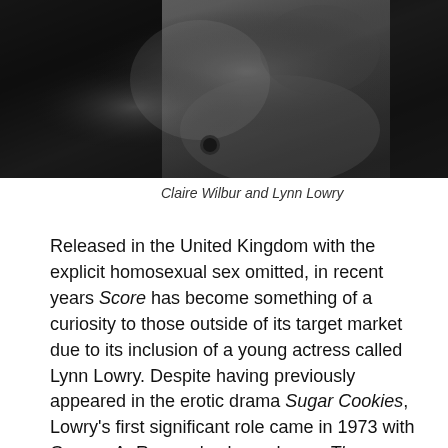[Figure (photo): Black and white photograph of Claire Wilbur and Lynn Lowry, cropped showing close physical interaction]
Claire Wilbur and Lynn Lowry
Released in the United Kingdom with the explicit homosexual sex omitted, in recent years Score has become something of a curiosity to those outside of its target market due to its inclusion of a young actress called Lynn Lowry. Despite having previously appeared in the erotic drama Sugar Cookies, Lowry's first significant role came in 1973 with George A. Romero's plague horror The Crazies, returning to the genre two years later for a supporting role in David Cronenberg's commercial debut Shivers. 'Radley cast me because Lee Hessel, who produced The Crazies, knew about the film that Radley was doing, and he told Radley that he thought that I would be very good for the film,' she told Negativ in 2011. 'I was told that everything would be simulated and, of course, the women's scene is totally simulated. But the men really go to town there, so it suddenly became this X-rated film, which could have been a real problem for me because